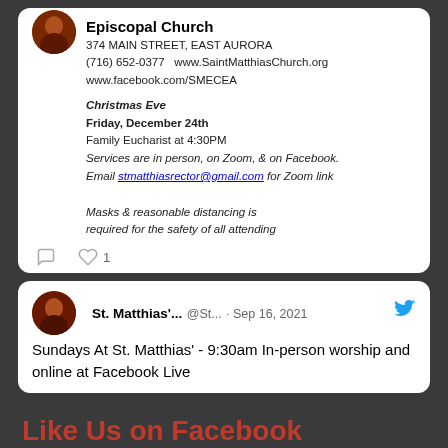[Figure (screenshot): Top portion of a tweet/social media card showing Episcopal Church info with avatar, address, Christmas Eve service details, and social action icons (comment, like with count 1)]
[Figure (screenshot): Twitter card for St. Matthias' (@St...) dated Sep 16, 2021, with Twitter bird icon, text: Sundays At St. Matthias' - 9:30am In-person worship and online at Facebook Live]
Like Us on Facebook